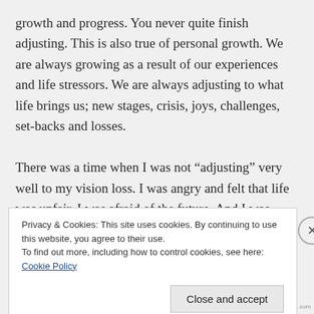growth and progress. You never quite finish adjusting. This is also true of personal growth. We are always growing as a result of our experiences and life stressors. We are always adjusting to what life brings us; new stages, crisis, joys, challenges, set-backs and losses.
There was a time when I was not “adjusting” very well to my vision loss. I was angry and felt that life was unfair. I was afraid of the future. And I was depressed. In short, I
Privacy & Cookies: This site uses cookies. By continuing to use this website, you agree to their use.
To find out more, including how to control cookies, see here: Cookie Policy